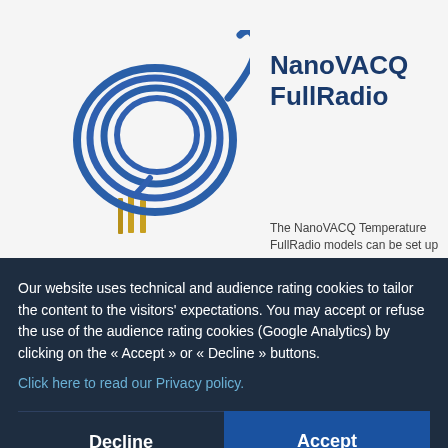[Figure (photo): Blue coiled cable with gold connector pins at bottom, NanoVACQ FullRadio product photo]
NanoVACQ FullRadio
The NanoVACQ Temperature FullRadio models can be set up
prod
Mor
time
Our website uses technical and audience rating cookies to tailor the content to the visitors' expectations. You may accept or refuse the use of the audience rating cookies (Google Analytics) by clicking on the « Accept » or « Decline » buttons.
Click here to read our Privacy policy.
Decline
Accept